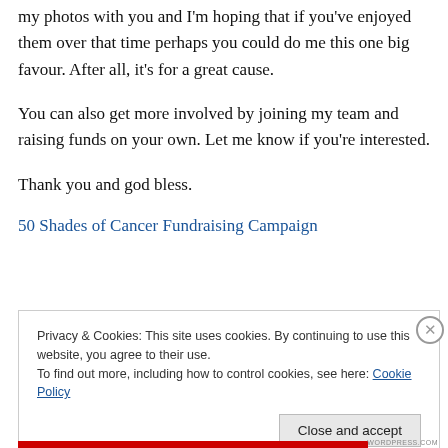my photos with you and I'm hoping that if you've enjoyed them over that time perhaps you could do me this one big favour. After all, it's for a great cause.
You can also get more involved by joining my team and raising funds on your own. Let me know if you're interested.
Thank you and god bless.
50 Shades of Cancer Fundraising Campaign
Privacy & Cookies: This site uses cookies. By continuing to use this website, you agree to their use.
To find out more, including how to control cookies, see here: Cookie Policy